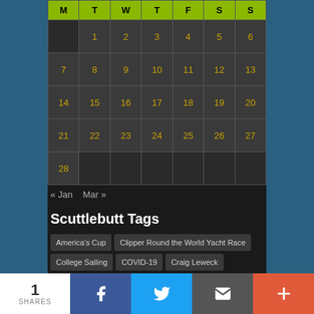| M | T | W | T | F | S | S |
| --- | --- | --- | --- | --- | --- | --- |
|  | 1 | 2 | 3 | 4 | 5 | 6 |
| 7 | 8 | 9 | 10 | 11 | 12 | 13 |
| 14 | 15 | 16 | 17 | 18 | 19 | 20 |
| 21 | 22 | 23 | 24 | 25 | 26 | 27 |
| 28 |  |  |  |  |  |  |
« Jan   Mar »
Scuttlebutt Tags
America's Cup
Clipper Round the World Yacht Race
College Sailing
COVID-19
Craig Leweck
education
Eight Bells
epic
Extreme Sailing Series
growing the sport
ILCA 7
Keeping it real
Olympic Games
records
The Ocean Race
Tokyo 2020 Games
TP52
US Sailing
Vendee Globe
World Cup Series
World Match Racing Tour
1 SHARES  [Facebook] [Twitter] [Email] [More]